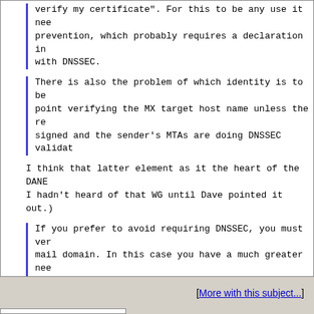verify my certificate". For this to be any use it nee prevention, which probably requires a declaration in with DNSSEC.
There is also the problem of which identity is to be point verifying the MX target host name unless the re signed and the sender's MTAs are doing DNSSEC validat
I think that latter element as it the heart of the DANE I hadn't heard of that WG until Dave pointed it out.)
If you prefer to avoid requiring DNSSEC, you must ver mail domain. In this case you have a much greater nee support for server certificate selection (either SNI new ESMTP TLS service extension), and you have to dec messages that have recipients at multiple different c target server. This is all rather complicated and mes
I'm trying to stay simple at this point, and only verif server, not the recipient domains. That's already being I noted to Dave) without any clear specification for ho However, as I go through RFC 6125, it pretty much does everything I wanted (other than deprecating the current *SIGH*)

<csg>
[More with this subject...]